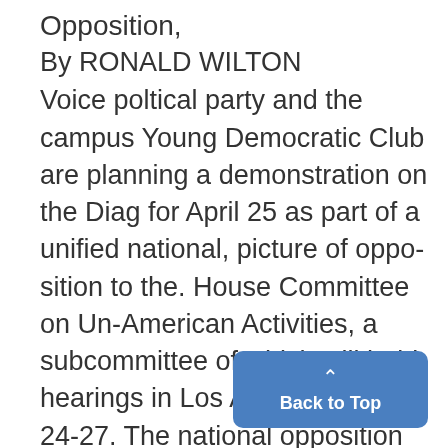Opposition,
By RONALD WILTON
Voice poltical party and the campus Young Democratic Club are planning a demonstration on the Diag for April 25 as part of a unified national, picture of opposition to the. House Committee on Un-American Activities, a subcommittee of which will hold hearings in Los Angeles on April 24-27. The national opposition was plannedat a conference on coll political parties held at Oberlin